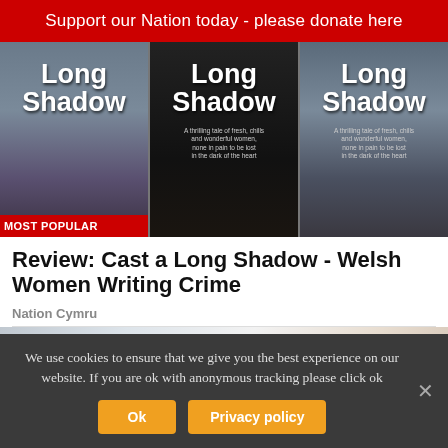Support our Nation today - please donate here
[Figure (photo): Three book covers for 'Long Shadow' anthology, with a 'MOST POPULAR' badge on the first cover]
Review: Cast a Long Shadow - Welsh Women Writing Crime
Nation Cymru
[Figure (photo): Close-up photo of a bathroom sink with faucets and a hand visible]
We use cookies to ensure that we give you the best experience on our website. If you are ok with anonymous tracking please click ok
Ok   Privacy policy